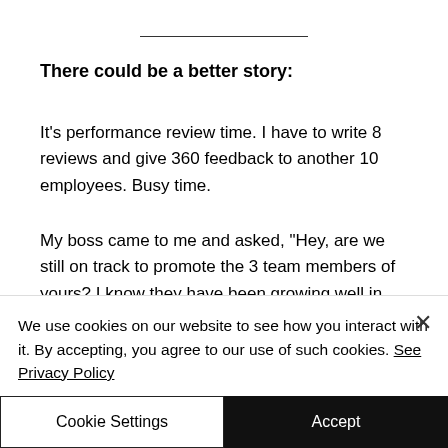There could be a better story:
It's performance review time. I have to write 8 reviews and give 360 feedback to another 10 employees. Busy time.
My boss came to me and asked, "Hey, are we still on track to promote the 3 team members of yours? I know they have been growing well in your team. And then..." [text cut off]
We use cookies on our website to see how you interact with it. By accepting, you agree to our use of such cookies. See Privacy Policy
Cookie Settings
Accept